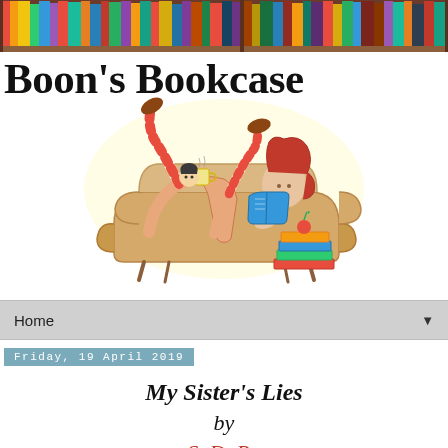[Figure (illustration): Decorative bookshelf banner image showing colorful book spines at the top of the page]
Boon's Bookcase
[Figure (illustration): Cartoon illustration of a woman with red hair lounging on a beige sofa reading a book, wearing red and white striped socks, with a stack of colorful books on the floor beside her]
Home
Friday, 19 April 2019
My Sister's Lies
by
S. D. Robertson